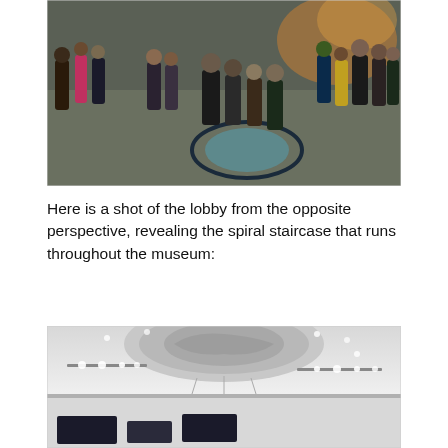[Figure (photo): Overhead view of a museum lobby with many people standing and talking. A circular spiral staircase design is visible on the floor. People are dressed in business and casual attire. The lobby has a tiled floor and warm lighting in the background.]
Here is a shot of the lobby from the opposite perspective, revealing the spiral staircase that runs throughout the museum:
[Figure (photo): Interior shot of a museum gallery from a low angle looking upward, showing a white ceiling with a large circular cutout revealing a spiral staircase above. Track lighting is mounted on the ceiling. Display screens and exhibits are visible in the lower portion.]